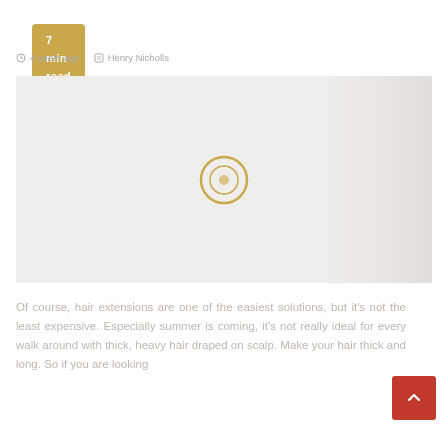7 min read
4 years ago   Henry Nicholls
[Figure (photo): A faded/washed-out image of a person with a circular play button overlay in golden/yellow color, with a silhouette of a person on the right side]
Of course, hair extensions are one of the easiest solutions, but it's not the least expensive. Especially summer is coming, it's not really ideal for every walk around with thick, heavy hair draped on scalp. Make your hair thick and long. So if you are looking